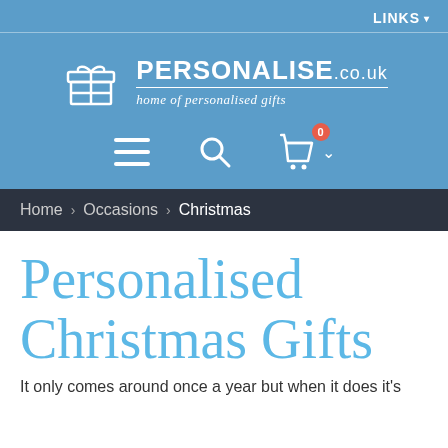LINKS
[Figure (logo): Personalise.co.uk logo with gift box icon and tagline 'home of personalised gifts']
[Figure (infographic): Navigation icons: hamburger menu, search magnifying glass, shopping bag with badge showing 0]
Home > Occasions > Christmas
Personalised Christmas Gifts
It only comes around once a year but when it does it's